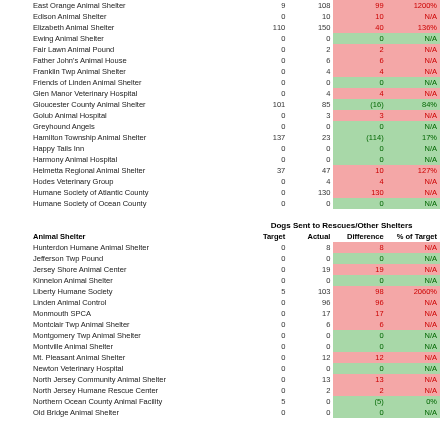| Animal Shelter | Target | Actual | Difference | % of Target |
| --- | --- | --- | --- | --- |
| East Orange Animal Shelter | 9 | 108 | 99 | 1200% |
| Edison Animal Shelter | 0 | 10 | 10 | N/A |
| Elizabeth Animal Shelter | 110 | 150 | 40 | 136% |
| Ewing Animal Shelter | 0 | 0 | 0 | N/A |
| Fair Lawn Animal Pound | 0 | 2 | 2 | N/A |
| Father John's Animal House | 0 | 6 | 6 | N/A |
| Franklin Twp Animal Shelter | 0 | 4 | 4 | N/A |
| Friends of Linden Animal Shelter | 0 | 0 | 0 | N/A |
| Glen Manor Veterinary Hospital | 0 | 4 | 4 | N/A |
| Gloucester County Animal Shelter | 101 | 85 | (16) | 84% |
| Golub Animal Hospital | 0 | 3 | 3 | N/A |
| Greyhound Angels | 0 | 0 | 0 | N/A |
| Hamilton Township Animal Shelter | 137 | 23 | (114) | 17% |
| Happy Tails Inn | 0 | 0 | 0 | N/A |
| Harmony Animal Hospital | 0 | 0 | 0 | N/A |
| Helmetta Regional Animal Shelter | 37 | 47 | 10 | 127% |
| Hodes Veterinary Group | 0 | 4 | 4 | N/A |
| Humane Society of Atlantic County | 0 | 130 | 130 | N/A |
| Humane Society of Ocean County | 0 | 0 | 0 | N/A |
| Animal Shelter | Target | Actual | Difference | % of Target |
| --- | --- | --- | --- | --- |
| Hunterdon Humane Animal Shelter | 0 | 8 | 8 | N/A |
| Jefferson Twp Pound | 0 | 0 | 0 | N/A |
| Jersey Shore Animal Center | 0 | 19 | 19 | N/A |
| Kinnelon Animal Shelter | 0 | 0 | 0 | N/A |
| Liberty Humane Society | 5 | 103 | 98 | 2060% |
| Linden Animal Control | 0 | 96 | 96 | N/A |
| Monmouth SPCA | 0 | 17 | 17 | N/A |
| Montclair Twp Animal Shelter | 0 | 6 | 6 | N/A |
| Montgomery Twp Animal Shelter | 0 | 0 | 0 | N/A |
| Montville Animal Shelter | 0 | 0 | 0 | N/A |
| Mt. Pleasant Animal Shelter | 0 | 12 | 12 | N/A |
| Newton Veterinary Hospital | 0 | 0 | 0 | N/A |
| North Jersey Community Animal Shelter | 0 | 13 | 13 | N/A |
| North Jersey Humane Rescue Center | 0 | 2 | 2 | N/A |
| Northern Ocean County Animal Facility | 5 | 0 | (5) | 0% |
| Old Bridge Animal Shelter | 0 | 0 | 0 | N/A |